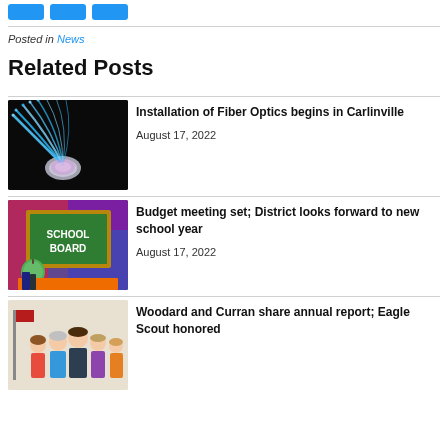[Figure (other): Three blue social share buttons at top]
Posted in News
Related Posts
[Figure (photo): Fiber optic cables glowing blue and purple against black background]
Installation of Fiber Optics begins in Carlinville
August 17, 2022
[Figure (photo): School board chalkboard sign with green apple]
Budget meeting set; District looks forward to new school year
August 17, 2022
[Figure (photo): Group of people standing together]
Woodard and Curran share annual report; Eagle Scout honored